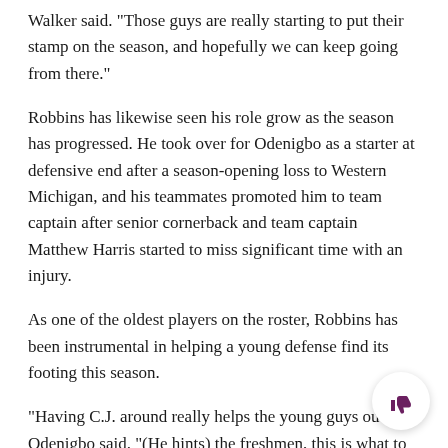Walker said. “Those guys are really starting to put their stamp on the season, and hopefully we can keep going from there.”
Robbins has likewise seen his role grow as the season has progressed. He took over for Odenigbo as a starter at defensive end after a season-opening loss to Western Michigan, and his teammates promoted him to team captain after senior cornerback and team captain Matthew Harris started to miss significant time with an injury.
As one of the oldest players on the roster, Robbins has been instrumental in helping a young defense find its footing this season.
“Having C.J. around really helps the young guys out,” Odenigbo said. “(He hints) the freshmen, this is what to do, this is what not to do. He has a lot of input.”